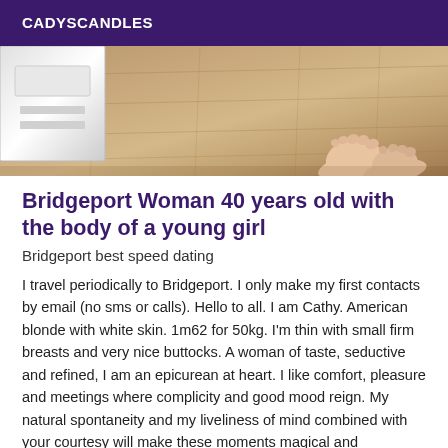CADYSCANDLES
[Figure (photo): Photo showing feet standing on a wooden floor with a white object (scale or box) visible in the upper left corner]
Bridgeport Woman 40 years old with the body of a young girl
Bridgeport best speed dating
I travel periodically to Bridgeport. I only make my first contacts by email (no sms or calls). Hello to all. I am Cathy. American blonde with white skin. 1m62 for 50kg. I'm thin with small firm breasts and very nice buttocks. A woman of taste, seductive and refined, I am an epicurean at heart. I like comfort, pleasure and meetings where complicity and good mood reign. My natural spontaneity and my liveliness of mind combined with your courtesy will make these moments magical and privileged. During this parenthesis of charm, I will be